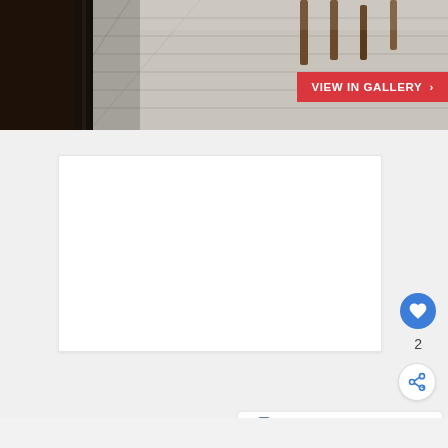[Figure (photo): Hero image showing a rustic wooden floor/deck with furniture legs visible, dark wooden post on left side]
VIEW IN GALLERY ›
[Figure (other): White content card area (empty/loading)]
[Figure (other): Blue circular like/heart button with heart icon, count of 2, and share button below]
2
WHAT'S NEXT → Stylish dining room décor....